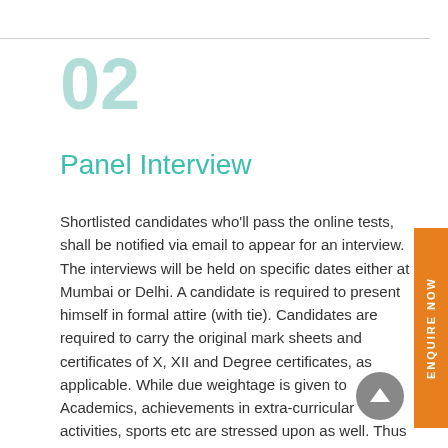02
Panel Interview
Shortlisted candidates who'll pass the online tests, shall be notified via email to appear for an interview. The interviews will be held on specific dates either at Mumbai or Delhi. A candidate is required to present himself in formal attire (with tie). Candidates are required to carry the original mark sheets and certificates of X, XII and Degree certificates, as applicable. While due weightage is given to Academics, achievements in extra-curricular activities, sports etc are stressed upon as well. Thus an all round personality of the candidates is taken into consideration. The interviews are held without any prejudice and selection will be based purely on merit.